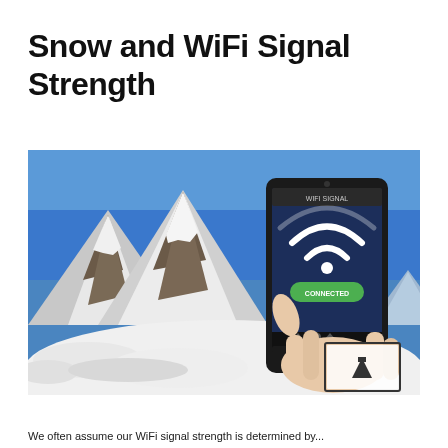Snow and WiFi Signal Strength
[Figure (photo): A hand holding a smartphone displaying a WiFi signal strength app with a large WiFi symbol and a green connected status bar, set against a backdrop of snow-covered mountains under a clear blue sky.]
We often assume our WiFi signal strength is determined by...